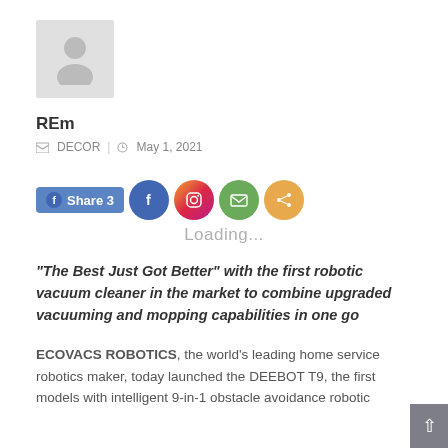[Figure (illustration): Generic avatar/profile picture placeholder — gray silhouette of a person on light gray background]
REm
DECOR  |  May 1, 2021
[Figure (infographic): Social share buttons: Facebook Share 3 button (blue), Facebook circle icon, Instagram circle icon, email circle icon, share circle icon]
Loading...
“The Best Just Got Better” with the first robotic vacuum cleaner in the market to combine upgraded vacuuming and mopping capabilities in one go
ECOVACS ROBOTICS, the world’s leading home service robotics maker, today launched the DEEBOT T9, the first models with intelligent 9-in-1 obstacle avoidance robotic